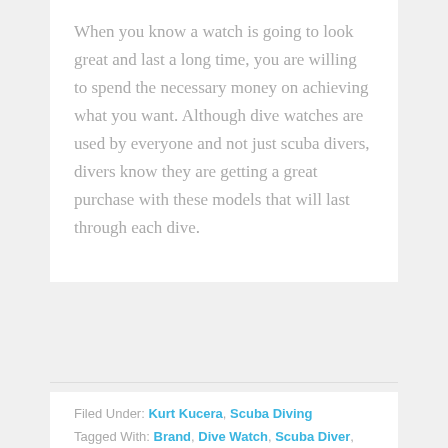When you know a watch is going to look great and last a long time, you are willing to spend the necessary money on achieving what you want. Although dive watches are used by everyone and not just scuba divers, divers know they are getting a great purchase with these models that will last through each dive.
Filed Under: Kurt Kucera, Scuba Diving Tagged With: Brand, Dive Watch, Scuba Diver, Watch